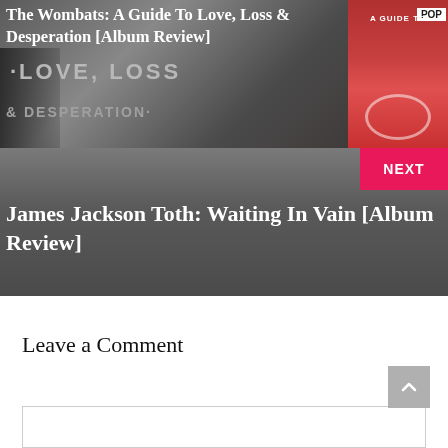[Figure (photo): The Wombats album 'A Guide To Love, Loss & Desperation' promotional image with bold text overlay showing LOVE, LOSS & DESPERATION, band members silhouette on left, album art on right with POP label]
The Wombats: A Guide To Love, Loss & Desperation [Album Review]
[Figure (photo): Dark gradient background panel with NEXT navigation button in pink/red on top right corner]
James Jackson Toth: Waiting In Vain [Album Review]
Leave a Comment
[Figure (other): Scroll to top button (grey square with upward chevron arrow)]
[Figure (other): Comment text input box (empty white rectangle with border)]